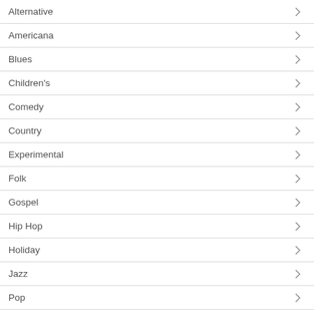Alternative
Americana
Blues
Children's
Comedy
Country
Experimental
Folk
Gospel
Hip Hop
Holiday
Jazz
Pop
Power Pop